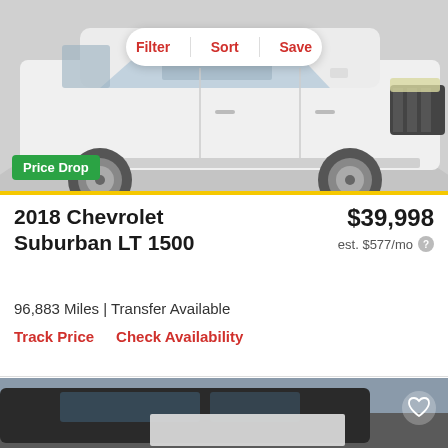[Figure (photo): White 2018 Chevrolet Suburban LT 1500 SUV on a light grey studio background, side and front view]
2018 Chevrolet Suburban LT 1500
$39,998
est. $577/mo
96,883 Miles | Transfer Available
Track Price    Check Availability
[Figure (photo): Dark-colored SUV (second listing) partially visible at bottom of page]